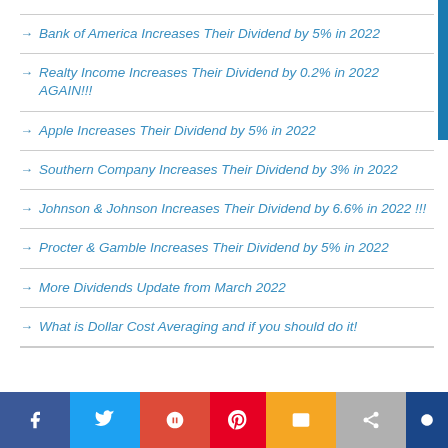Bank of America Increases Their Dividend by 5% in 2022
Realty Income Increases Their Dividend by 0.2% in 2022 AGAIN!!!
Apple Increases Their Dividend by 5% in 2022
Southern Company Increases Their Dividend by 3% in 2022
Johnson & Johnson Increases Their Dividend by 6.6% in 2022 !!!
Procter & Gamble Increases Their Dividend by 5% in 2022
More Dividends Update from March 2022
What is Dollar Cost Averaging and if you should do it!